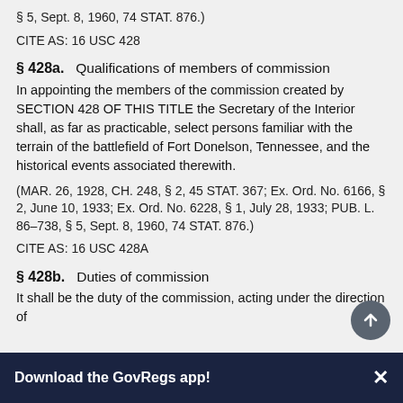§ 5, Sept. 8, 1960, 74 STAT. 876.)
CITE AS: 16 USC 428
§ 428a.   Qualifications of members of commission
In appointing the members of the commission created by SECTION 428 OF THIS TITLE the Secretary of the Interior shall, as far as practicable, select persons familiar with the terrain of the battlefield of Fort Donelson, Tennessee, and the historical events associated therewith.
(MAR. 26, 1928, CH. 248, § 2, 45 STAT. 367; Ex. Ord. No. 6166, § 2, June 10, 1933; Ex. Ord. No. 6228, § 1, July 28, 1933; PUB. L. 86–738, § 5, Sept. 8, 1960, 74 STAT. 876.)
CITE AS: 16 USC 428A
§ 428b.   Duties of commission
It shall be the duty of the commission, acting under the direction of
Download the GovRegs app!